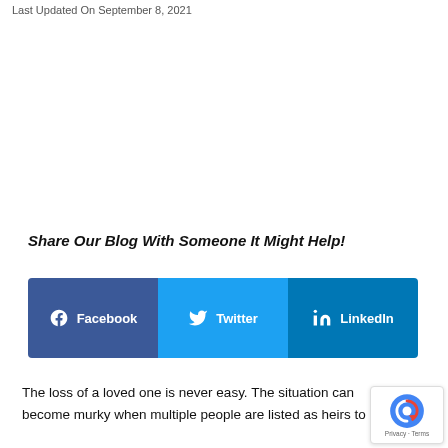Last Updated On September 8, 2021
Share Our Blog With Someone It Might Help!
[Figure (other): Social share buttons for Facebook, Twitter, and LinkedIn]
The loss of a loved one is never easy. The situation can become murky when multiple people are listed as heirs to